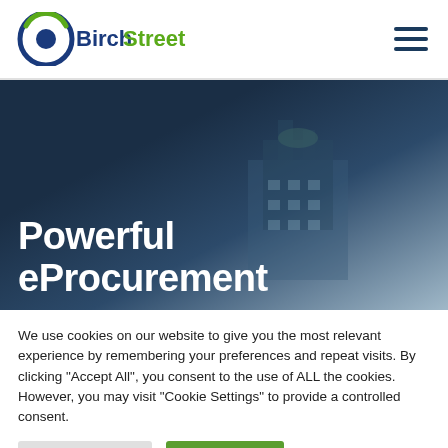[Figure (logo): BirchStreet logo with circular swirl graphic in blue and green, company name in bold dark blue and green text]
[Figure (photo): Hero banner showing a large building/hotel against a dramatic cloudy sky, dark blue tones, with large white bold text 'Powerful eProcurement' overlaid at the bottom]
We use cookies on our website to give you the most relevant experience by remembering your preferences and repeat visits. By clicking “Accept All”, you consent to the use of ALL the cookies. However, you may visit “Cookie Settings” to provide a controlled consent.
Cookie Settings
Accept All